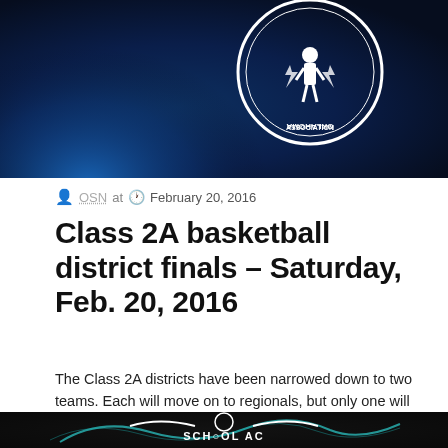[Figure (illustration): Dark blue banner with Oklahoma School Activities Association seal/logo (white circular seal with figure) on blue background]
OSN at  February 20, 2016
Class 2A basketball district finals – Saturday, Feb. 20, 2016
The Class 2A districts have been narrowed down to two teams. Each will move on to regionals, but only one will get a district title. Here […]
0  Read more
[Figure (illustration): Dark banner with Oklahoma School Activities Association logo partially visible, teal/cyan wave design on dark background]